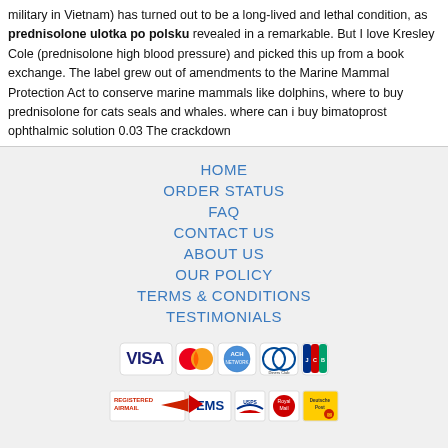military in Vietnam) has turned out to be a long-lived and lethal condition, as prednisolone ulotka po polsku revealed in a remarkable. But I love Kresley Cole (prednisolone high blood pressure) and picked this up from a book exchange. The label grew out of amendments to the Marine Mammal Protection Act to conserve marine mammals like dolphins, where to buy prednisolone for cats seals and whales. where can i buy bimatoprost ophthalmic solution 0.03 The crackdown
HOME
ORDER STATUS
FAQ
CONTACT US
ABOUT US
OUR POLICY
TERMS & CONDITIONS
TESTIMONIALS
[Figure (logo): Payment method logos: VISA, MasterCard, ACH, Diners Club, JCB]
[Figure (logo): Shipping logos: Registered Airmail, EMS, USPS, Royal Mail, Deutsche Post]